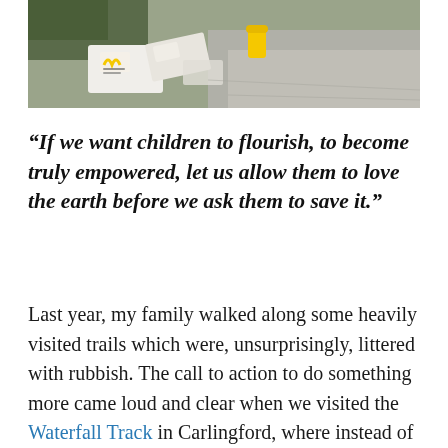[Figure (photo): Photo of McDonald's branded litter/rubbish bags on a trail or outdoor ground, with grass and pavement visible]
“If we want children to flourish, to become truly empowered, let us allow them to love the earth before we ask them to save it.”
Last year, my family walked along some heavily visited trails which were, unsurprisingly, littered with rubbish. The call to action to do something more came loud and clear when we visited the Waterfall Track in Carlingford, where instead of finding a waterfall, we were treated to the sight of a shopping trolley at the bottom of